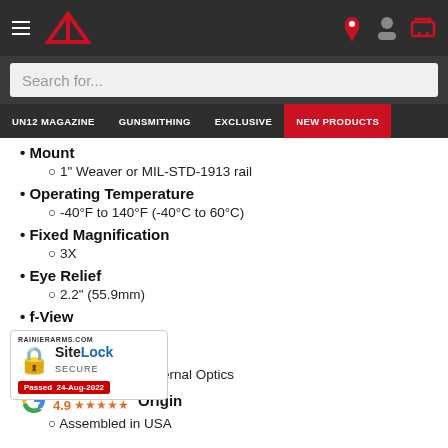Navigation bar with hamburger menu, Rainier Arms logo, location pin, account, and cart icons
Search for...
UN12 MAGAZINE  GUNSMITHING  EXCLUSIVE  NEW PRODUCTS
Mount
1" Weaver or MIL-STD-1913 rail
Operating Temperature
-40°F to 140°F (-40°C to 60°C)
Fixed Magnification
3X
Eye Relief
2.2" (55.9mm)
f-View
7.3°
Sealing
Fog Resistant Internal Optics
Origin
Assembled in USA
[Figure (other): SiteLock SECURE badge showing RAINIERARMS.COM, lock icon, SiteLock SECURE text, and Passed 24-Aug-2022]
Google Rating 4.9 ★★★★★